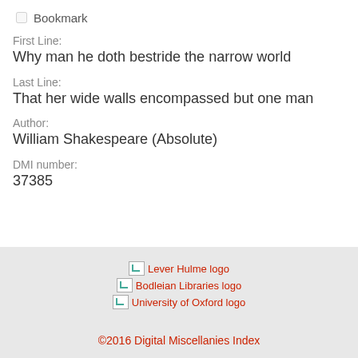Bookmark
First Line:
Why man he doth bestride the narrow world
Last Line:
That her wide walls encompassed but one man
Author:
William Shakespeare (Absolute)
DMI number:
37385
[Figure (logo): Lever Hulme logo (broken image)]
[Figure (logo): Bodleian Libraries logo (broken image)]
[Figure (logo): University of Oxford logo (broken image)]
©2016 Digital Miscellanies Index